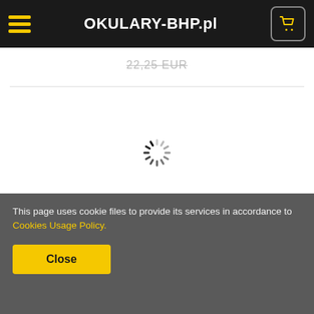OKULARY-BHP.pl
22,25 EUR
[Figure (other): Loading spinner animation indicator]
NEW IN
Bolle Safety - Safety glasses BAXTER - Clear - BAXPSI
18,75 EUR
This page uses cookie files to provide its services in accordance to Cookies Usage Policy.
Close